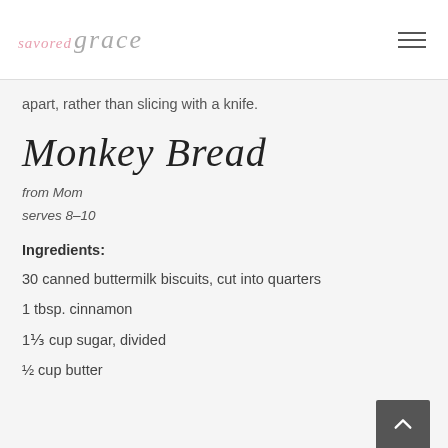savored grace
apart, rather than slicing with a knife.
Monkey Bread
from Mom
serves 8–10
Ingredients:
30 canned buttermilk biscuits, cut into quarters
1 tbsp. cinnamon
1⅓ cup sugar, divided
½ cup butter